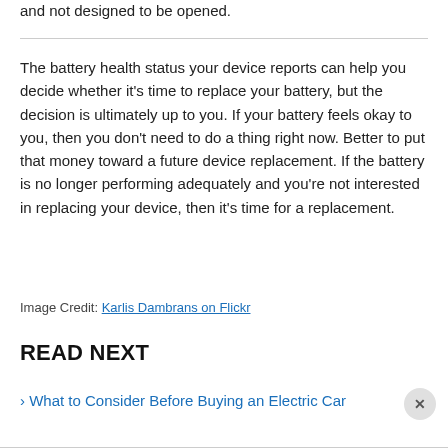and not designed to be opened.
The battery health status your device reports can help you decide whether it’s time to replace your battery, but the decision is ultimately up to you. If your battery feels okay to you, then you don’t need to do a thing right now. Better to put that money toward a future device replacement. If the battery is no longer performing adequately and you’re not interested in replacing your device, then it’s time for a replacement.
Image Credit: Karlis Dambrans on Flickr
READ NEXT
› What to Consider Before Buying an Electric Car